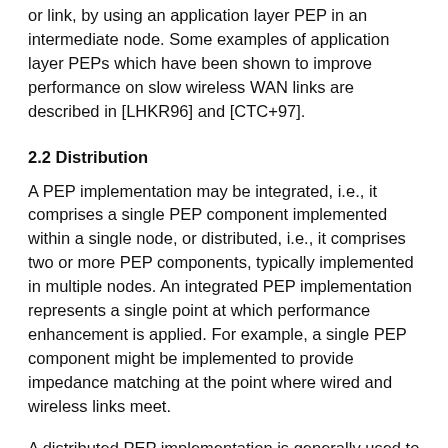or link, by using an application layer PEP in an intermediate node. Some examples of application layer PEPs which have been shown to improve performance on slow wireless WAN links are described in [LHKR96] and [CTC+97].
2.2 Distribution
A PEP implementation may be integrated, i.e., it comprises a single PEP component implemented within a single node, or distributed, i.e., it comprises two or more PEP components, typically implemented in multiple nodes. An integrated PEP implementation represents a single point at which performance enhancement is applied. For example, a single PEP component might be implemented to provide impedance matching at the point where wired and wireless links meet.
A distributed PEP implementation is generally used to surround a particular link for which performance enhancement is desired. For example, a PEP implementation for a satellite connection may be distributed, i.e., a PEP component is placed at each end of the satellite link.